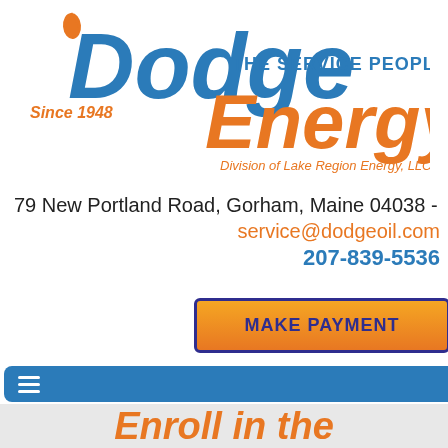[Figure (logo): Dodge Energy logo with 'Since 1948', flame icon, 'THE SERVICE PEOPLE' tagline, 'Energy' in orange, and 'Division of Lake Region Energy, LLC' subtitle]
79 New Portland Road, Gorham, Maine 04038 -
service@dodgeoil.com
207-839-5536
[Figure (other): Orange 'MAKE PAYMENT' button with navy border]
[Figure (other): Blue navigation bar with hamburger menu icon]
Enroll in the Dodge Propane